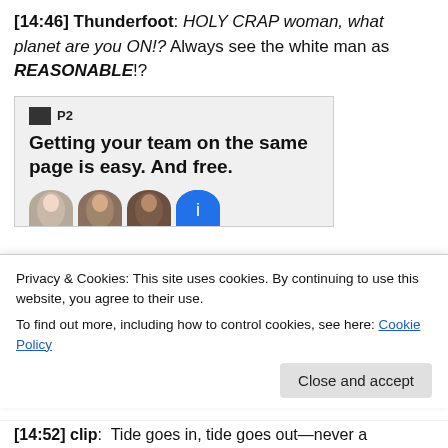[14:46] Thunderfoot: HOLY CRAP woman, what planet are you ON!? Always see the white man as REASONABLE!?
[Figure (screenshot): Advertisement for P2 service showing bold text 'Getting your team on the same page is easy. And free.' with circular avatar images below.]
Privacy & Cookies: This site uses cookies. By continuing to use this website, you agree to their use.
To find out more, including how to control cookies, see here: Cookie Policy
[14:52] clip: Tide goes in, tide goes out—never a